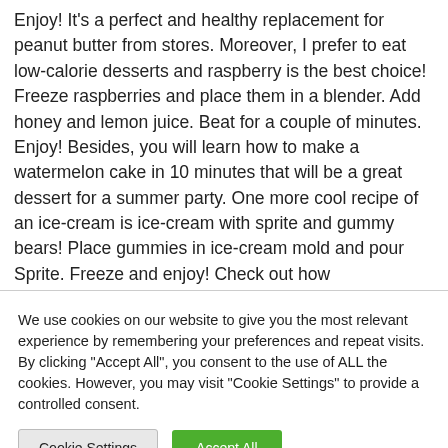Enjoy! It's a perfect and healthy replacement for peanut butter from stores. Moreover, I prefer to eat low-calorie desserts and raspberry is the best choice! Freeze raspberries and place them in a blender. Add honey and lemon juice. Beat for a couple of minutes. Enjoy! Besides, you will learn how to make a watermelon cake in 10 minutes that will be a great dessert for a summer party. One more cool recipe of an ice-cream is ice-cream with sprite and gummy bears! Place gummies in ice-cream mold and pour Sprite. Freeze and enjoy! Check out how
We use cookies on our website to give you the most relevant experience by remembering your preferences and repeat visits. By clicking "Accept All", you consent to the use of ALL the cookies. However, you may visit "Cookie Settings" to provide a controlled consent.